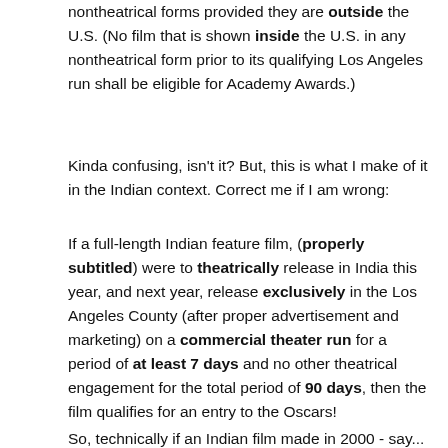nontheatrical forms provided they are outside the U.S. (No film that is shown inside the U.S. in any nontheatrical form prior to its qualifying Los Angeles run shall be eligible for Academy Awards.)
Kinda confusing, isn't it? But, this is what I make of it in the Indian context. Correct me if I am wrong:
If a full-length Indian feature film, (properly subtitled) were to theatrically release in India this year, and next year, release exclusively in the Los Angeles County (after proper advertisement and marketing) on a commercial theater run for a period of at least 7 days and no other theatrical engagement for the total period of 90 days, then the film qualifies for an entry to the Oscars!
So, technically if an Indian film made in 2000 - say...